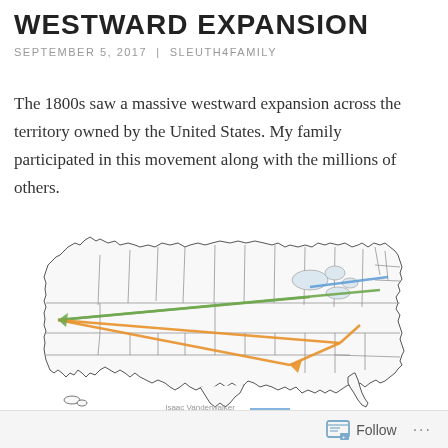WESTWARD EXPANSION
SEPTEMBER 5, 2017  |  SLEUTH4FAMILY
The 1800s saw a massive westward expansion across the territory owned by the United States. My family participated in this movement along with the millions of others.
[Figure (map): Outline map of the contiguous United States with colored arrow lines showing family migration routes: a blue line going from the northeast toward the midwest, a green line forming a triangle shape from the east to the west coast, and orange lines forming a triangle between the southeast, midwest, and western regions. Caption at bottom reads 'Isaac Vanderwalker' with a blue line.]
Follow  ...